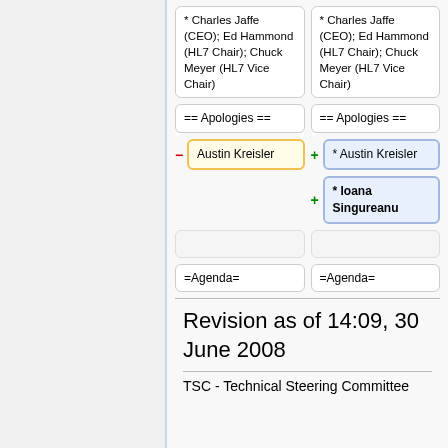| Old | New |
| --- | --- |
| * Charles Jaffe (CEO); Ed Hammond (HL7 Chair); Chuck Meyer (HL7 Vice Chair) | * Charles Jaffe (CEO); Ed Hammond (HL7 Chair); Chuck Meyer (HL7 Vice Chair) |
| == Apologies == | == Apologies == |
| Austin Kreisler | * Austin Kreisler |
|  | * Ioana Singureanu |
|  |  |
| =Agenda= | =Agenda= |
Revision as of 14:09, 30 June 2008
TSC - Technical Steering Committee